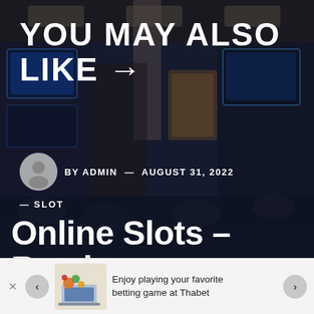[Figure (photo): Background photo of a casino floor filled with slot machines, dark blue-brown tones]
YOU MAY ALSO LIKE →
BY ADMIN — AUGUST 31, 2022
— SLOT
Online Slots – Read
[Figure (infographic): Bottom banner advertisement: colorful betting/gaming graphic with laptop and sports balls, text: Enjoy playing your favorite betting game at Thabet, with left/right navigation arrows and close button]